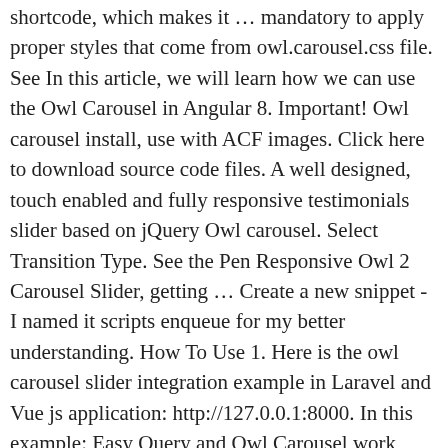shortcode, which makes it … mandatory to apply proper styles that come from owl.carousel.css file. See In this article, we will learn how we can use the Owl Carousel in Angular 8. Important! Owl carousel install, use with ACF images. Click here to download source code files. A well designed, touch enabled and fully responsive testimonials slider based on jQuery Owl carousel. Select Transition Type. See the Pen Responsive Owl 2 Carousel Slider, getting … Create a new snippet - I named it scripts enqueue for my better understanding. How To Use 1. Here is the owl carousel slider integration example in Laravel and Vue js application: http://127.0.0.1:8000. In this example: Easy Query and Owl Carousel work together to display featured posts in a beautiful slider format.. Owl Carousel is a popular touch enabled jQuery plugin that lets you easily create responsive carousel … getting active index, loading json via callback. However, it is required if you'd like the default nav controls like dots or next buttons. Carousel is a slideshow for cycling